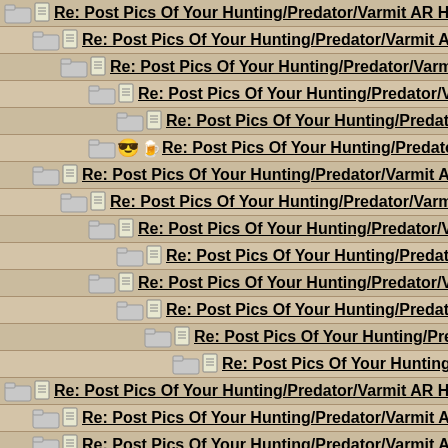Re: Post Pics Of Your Hunting/Predator/Varmit AR Here !!
Re: Post Pics Of Your Hunting/Predator/Varmit AR Here !!
Re: Post Pics Of Your Hunting/Predator/Varmit AR Here
Re: Post Pics Of Your Hunting/Predator/Varmit AR He
Re: Post Pics Of Your Hunting/Predator/Varmit AR H
Re: Post Pics Of Your Hunting/Predator/Varmit AR He
Re: Post Pics Of Your Hunting/Predator/Varmit AR Here !!
Re: Post Pics Of Your Hunting/Predator/Varmit AR Here !!
Re: Post Pics Of Your Hunting/Predator/Varmit AR Here !!
Re: Post Pics Of Your Hunting/Predator/Varmit AR Here
Re: Post Pics Of Your Hunting/Predator/Varmit AR He
Re: Post Pics Of Your Hunting/Predator/Varmit AR H
Re: Post Pics Of Your Hunting/Predator/Varmit AR
Re: Post Pics Of Your Hunting/Predator/Varmit
Re: Post Pics Of Your Hunting/Predator/Varmit AR Here !!
Re: Post Pics Of Your Hunting/Predator/Varmit AR Here !!
Re: Post Pics Of Your Hunting/Predator/Varmit AR Here !!
Re: Post Pics Of Your Hunting/Predator/Varmit AR Here !!